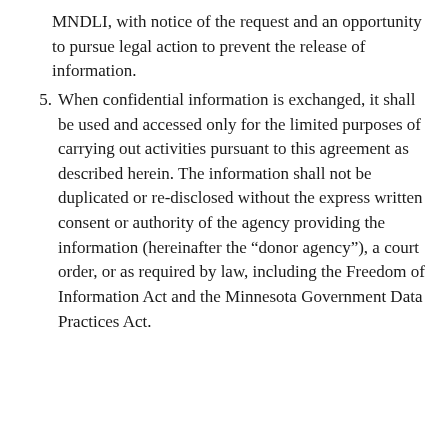MNDLI, with notice of the request and an opportunity to pursue legal action to prevent the release of information.
5. When confidential information is exchanged, it shall be used and accessed only for the limited purposes of carrying out activities pursuant to this agreement as described herein. The information shall not be duplicated or re-disclosed without the express written consent or authority of the agency providing the information (hereinafter the “donor agency”), a court order, or as required by law, including the Freedom of Information Act and the Minnesota Government Data Practices Act.